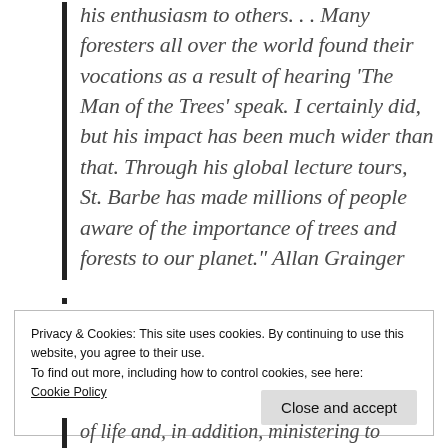his enthusiasm to others. . . Many foresters all over the world found their vocations as a result of hearing 'The Man of the Trees' speak. I certainly did, but his impact has been much wider than that. Through his global lecture tours, St. Barbe has made millions of people aware of the importance of trees and forests to our planet." Allan Grainger
Privacy & Cookies: This site uses cookies. By continuing to use this website, you agree to their use.
To find out more, including how to control cookies, see here:
Cookie Policy
Close and accept
of life and, in addition, ministering to